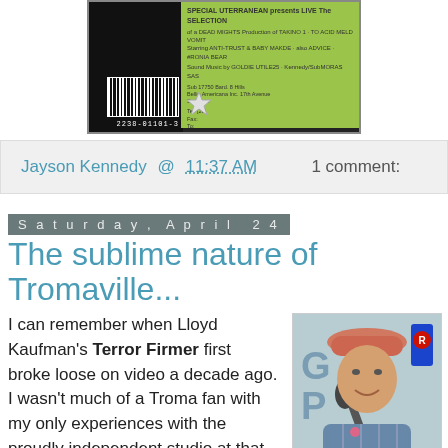[Figure (photo): DVD or VHS case back cover showing a barcode on left and green panel with text on right]
Jayson Kennedy @ 11:37 AM    1 comment:
Saturday, April 24
The sublime nature of Tromaville...
I can remember when Lloyd Kaufman's Terror Firmer first broke loose on video a decade ago. I wasn't much of a Troma fan with my only experiences with the proudly independent studio at that time being memories of reruns of Toxies and Nuke 'Em Highs on Up All Night. I was aware of the film, but became very surprised upon overhearing a co-
[Figure (photo): Photo of a smiling man wearing an orange/pink bucket hat and blue striped shirt, with a microphone visible, and colorful background]